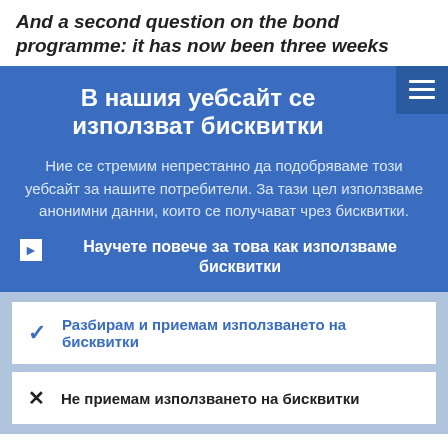And a second question on the bond programme: it has now been three weeks
В нашия уебсайт се използват бисквитки
Ние се стремим непрестанно да подобряваме този уебсайт за нашите потребители. За тази цел използваме анонимни данни, които се получават чрез бисквитки.
Научете повече за това как използваме бисквитки
Разбирам и приемам използването на бисквитки
Не приемам използването на бисквитки